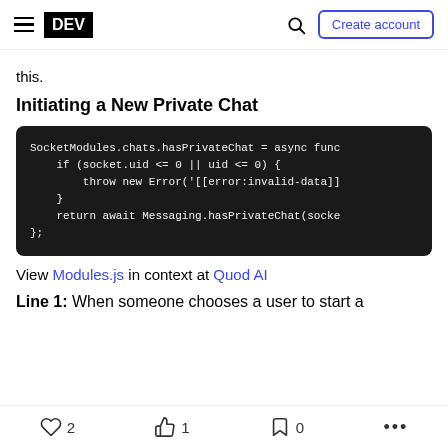DEV | Create account
this.
Initiating a New Private Chat
[Figure (screenshot): Code block showing JavaScript: SocketModules.chats.hasPrivateChat = async func if (socket.uid <= 0 || uid <= 0) { throw new Error('[[error:invalid-data]] } return await Messaging.hasPrivateChat(socke };]
View Modules.js in context at Quod AI
Line 1: When someone chooses a user to start a
2  1  0  ...